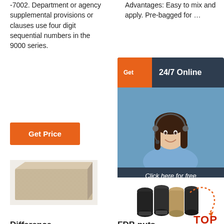-7002. Department or agency supplemental provisions or clauses use four digit sequential numbers in the 9000 series.
[Figure (other): Orange button labeled 'Get Price']
[Figure (photo): Photo of a tan/beige refractory fire brick on a white background]
Difference
Advantages: Easy to mix and apply. Pre-bagged for …
[Figure (other): 24/7 Online chat widget with woman wearing headset, dark blue background, 'Get' orange button, 'Click here for free chat!' text, and orange 'QUOTATION' button]
[Figure (other): Group of industrial cylindrical fittings/caps in black and tan colors with 'TOP' text in orange and red dotted arc]
FDB puts